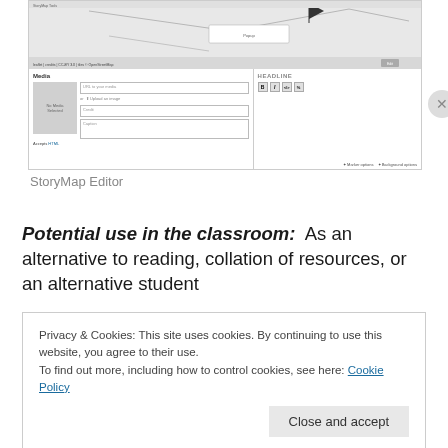[Figure (screenshot): StoryMap Editor interface showing map view at top with Media and HEADLINE panels below. Media panel contains a URL input, Upload an image button, Credit and Caption fields. HEADLINE panel has formatting toolbar buttons.]
StoryMap Editor
Potential use in the classroom:  As an alternative to reading, collation of resources, or an alternative student
Privacy & Cookies: This site uses cookies. By continuing to use this website, you agree to their use.
To find out more, including how to control cookies, see here: Cookie Policy
Close and accept